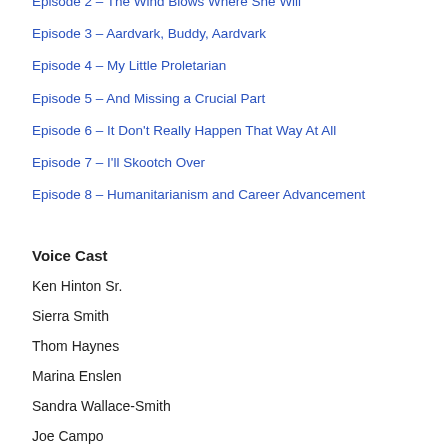Episode 2 – The Wind Blows Where She Will
Episode 3 – Aardvark, Buddy, Aardvark
Episode 4 – My Little Proletarian
Episode 5 – And Missing a Crucial Part
Episode 6 – It Don't Really Happen That Way At All
Episode 7 – I'll Skootch Over
Episode 8 – Humanitarianism and Career Advancement
Voice Cast
Ken Hinton Sr.
Sierra Smith
Thom Haynes
Marina Enslen
Sandra Wallace-Smith
Joe Campo